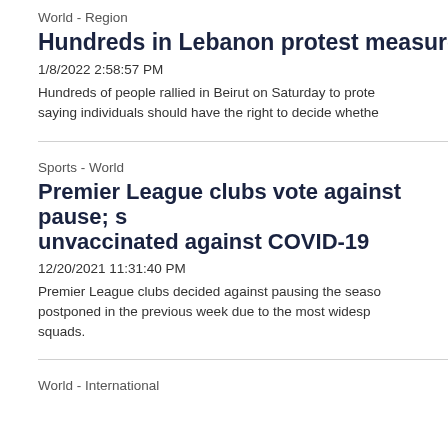World - Region
Hundreds in Lebanon protest measures ta
1/8/2022 2:58:57 PM
Hundreds of people rallied in Beirut on Saturday to prote saying individuals should have the right to decide whethe
Sports - World
Premier League clubs vote against pause; s unvaccinated against COVID-19
12/20/2021 11:31:40 PM
Premier League clubs decided against pausing the seaso postponed in the previous week due to the most widesp squads.
World - International